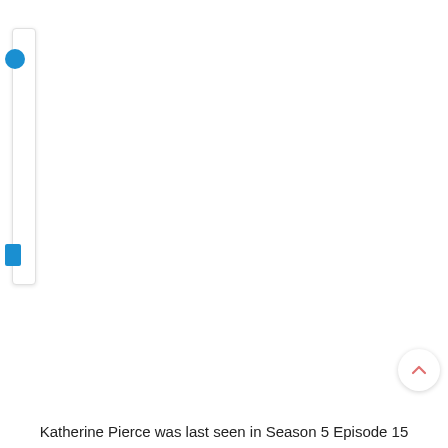[Figure (screenshot): A UI panel on the left side with a blue circle icon and a blue rectangle icon, suggesting a mobile or web app sidebar with navigation elements.]
[Figure (other): A small circular button with an upward-pointing chevron arrow in salmon/pink color, used as a scroll-to-top button.]
Katherine Pierce was last seen in Season 5 Episode 15